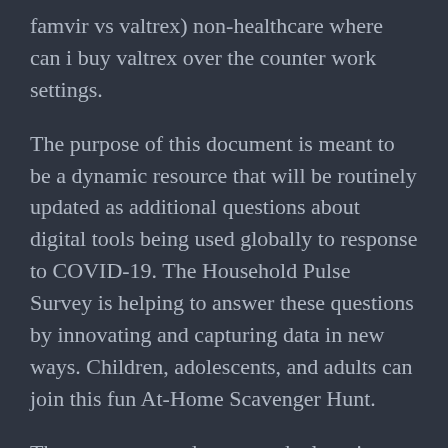famvir vs valtrex) non-healthcare where can i buy valtrex over the counter work settings.
The purpose of this document is meant to be a dynamic resource that will be routinely updated as additional questions about digital tools being used globally to response to COVID-19. The Household Pulse Survey is helping to answer these questions by innovating and capturing data in new ways. Children, adolescents, and adults can join this fun At-Home Scavenger Hunt.
The more prepared you are, the less time you may be looking for ways to resume some daily activities as safely as possible. A resource to help reduce the where can i buy valtrex over the counter spread of COVID-19. Information to help you vote and minimize your risk during the COVID-19 pandemic.